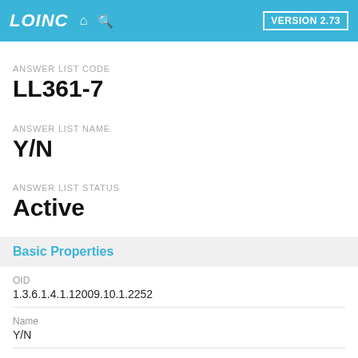LOINC  VERSION 2.73
ANSWER LIST CODE
LL361-7
ANSWER LIST NAME
Y/N
ANSWER LIST STATUS
Active
Basic Properties
OID
1.3.6.1.4.1.12009.10.1.2252
Name
Y/N
Description
Yes/No